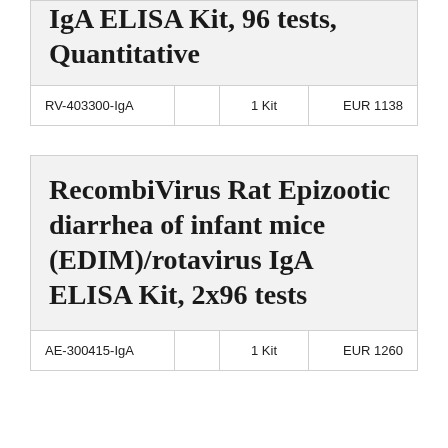IgA ELISA Kit, 96 tests, Quantitative
| Product Code |  | Quantity | Price |
| --- | --- | --- | --- |
| RV-403300-IgA |  | 1 Kit | EUR 1138 |
RecombiVirus Rat Epizootic diarrhea of infant mice (EDIM)/rotavirus IgA ELISA Kit, 2x96 tests
| Product Code |  | Quantity | Price |
| --- | --- | --- | --- |
| AE-300415-IgA |  | 1 Kit | EUR 1260 |